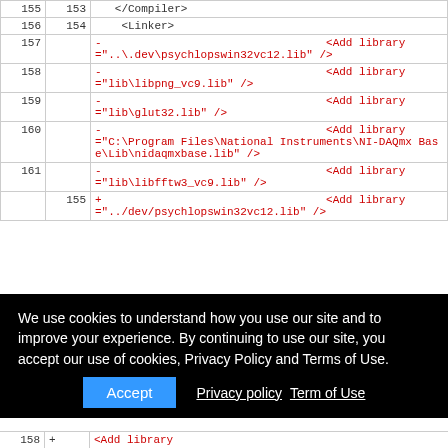|  |  | code |
| --- | --- | --- |
| 155 | 153 | </Compiler> |
| 156 | 154 | <Linker> |
| 157 |  | - <Add library ="..\dev\psychlopswin32vc12.lib" /> |
| 158 |  | - <Add library ="lib\libpng_vc9.lib" /> |
| 159 |  | - <Add library ="lib\glut32.lib" /> |
| 160 |  | - <Add library ="C:\Program Files\National Instruments\NI-DAQmx Base\Lib\nidaqmxbase.lib" /> |
| 161 |  | - <Add library ="lib\libfftw3_vc9.lib" /> |
|  | 155 | + <Add library ="../dev/psychlopswin32vc12.lib" /> |
|  | 158 | + <Add library |
We use cookies to understand how you use our site and to improve your experience. By continuing to use our site, you accept our use of cookies, Privacy Policy and Terms of Use.
Accept  Privacy policy  Term of Use